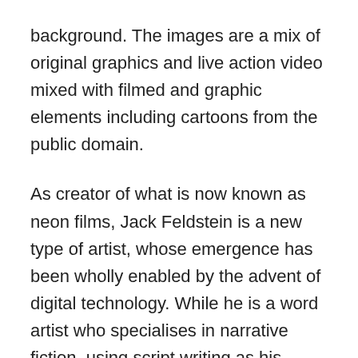background. The images are a mix of original graphics and live action video mixed with filmed and graphic elements including cartoons from the public domain.
As creator of what is now known as neon films, Jack Feldstein is a new type of artist, whose emergence has been wholly enabled by the advent of digital technology. While he is a word artist who specialises in narrative fiction, using script writing as his primary medium, he has been able to harness digital technology to create a secondary medium through which he can realise his art in its totality, on his own. Although he still writes both plays and film scripts for others to stage and film, through his neon films, he can create whole works by himself. The films have found success internationally through various film festivals, opening up opportunities for Feldstein